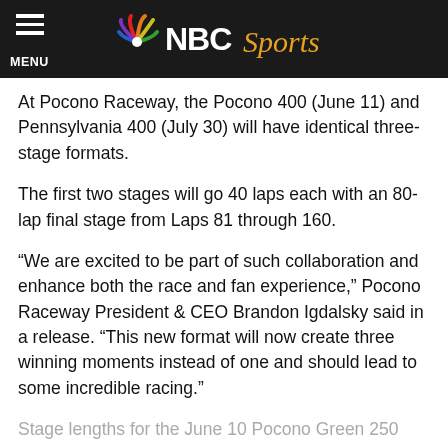NBC Sports
At Pocono Raceway, the Pocono 400 (June 11) and Pennsylvania 400 (July 30) will have identical three-stage formats.
The first two stages will go 40 laps each with an 80-lap final stage from Laps 81 through 160.
“We are excited to be part of such collaboration and enhance both the race and fan experience,” Pocono Raceway President & CEO Brandon Igdalsky said in a release. “This new format will now create three winning moments instead of one and should lead to some incredible racing.”
Stage lengths for the June 10 Pocono Green 250 Xfinity race and the July 29 Pocono Mountains 150 Camping World Truck Series races at Pocono are still to be determined.